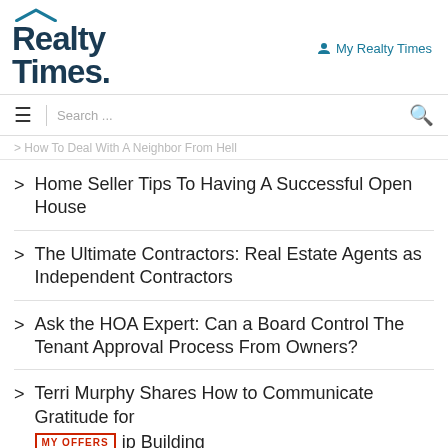Realty Times
My Realty Times
Search ...
> How To Deal With A Neighbor From Hell
> Home Seller Tips To Having A Successful Open House
> The Ultimate Contractors: Real Estate Agents as Independent Contractors
> Ask the HOA Expert: Can a Board Control The Tenant Approval Process From Owners?
> Terri Murphy Shares How to Communicate Gratitude for Relationship Building